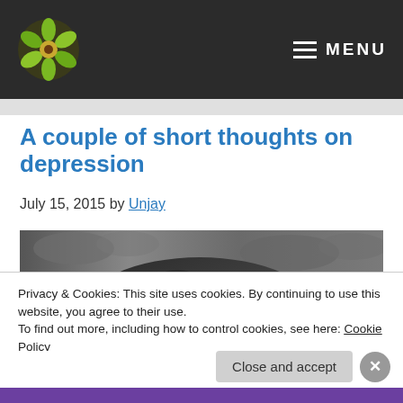MENU
A couple of short thoughts on depression
July 15, 2015 by Unjay
[Figure (photo): Close-up grayscale photo of a dog's eye and face, moody dark tones]
Privacy & Cookies: This site uses cookies. By continuing to use this website, you agree to their use.
To find out more, including how to control cookies, see here: Cookie Policy
Close and accept
[Figure (screenshot): WooCommerce advertisement banner at bottom of page — subscriptions online]